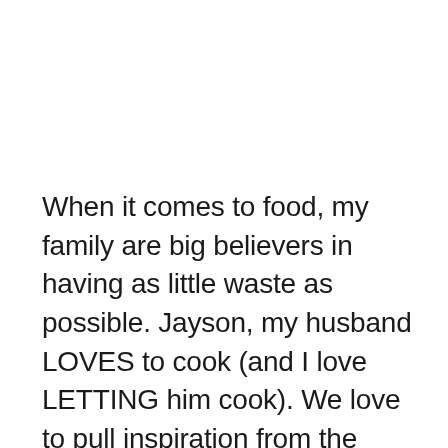When it comes to food, my family are big believers in having as little waste as possible. Jayson, my husband LOVES to cook (and I love LETTING him cook). We love to pull inspiration from the Native American idea of using EVERY part of the animal. So, when he is making mashed